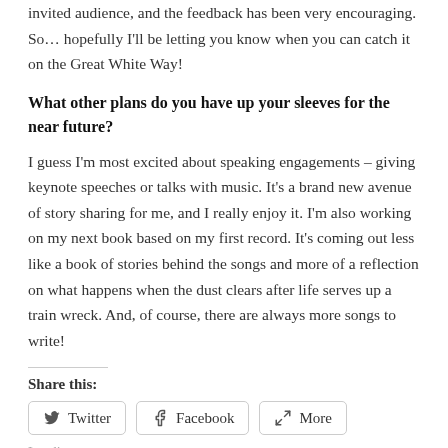invited audience, and the feedback has been very encouraging. So… hopefully I'll be letting you know when you can catch it on the Great White Way!
What other plans do you have up your sleeves for the near future?
I guess I'm most excited about speaking engagements – giving keynote speeches or talks with music. It's a brand new avenue of story sharing for me, and I really enjoy it. I'm also working on my next book based on my first record. It's coming out less like a book of stories behind the songs and more of a reflection on what happens when the dust clears after life serves up a train wreck. And, of course, there are always more songs to write!
Share this:
Twitter  Facebook  More
Loading…